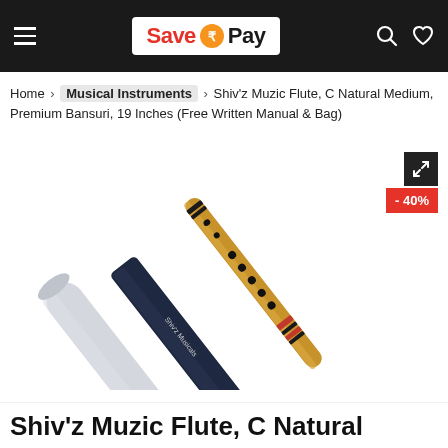Save ₹Pay
Home > Musical Instruments > Shiv'z Muzic Flute, C Natural Medium, Premium Bansuri, 19 Inches (Free Written Manual & Bag)
[Figure (photo): Product photo showing a bamboo bansuri flute, a dark navy carry bag labeled 'Shiv'z Musicals', and a white cylindrical case. The flute has black and red thread wrapping and finger holes. A -40% discount badge is shown in the top right corner.]
Shiv'z Muzic Flute, C Natural